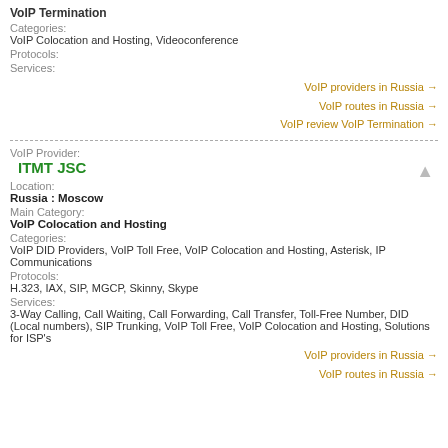VoIP Termination
Categories:
VoIP Colocation and Hosting, Videoconference
Protocols:
Services:
VoIP providers in Russia →
VoIP routes in Russia →
VoIP review VoIP Termination →
VoIP Provider:
ITMT JSC
Location:
Russia : Moscow
Main Category:
VoIP Colocation and Hosting
Categories:
VoIP DID Providers, VoIP Toll Free, VoIP Colocation and Hosting, Asterisk, IP Communications
Protocols:
H.323, IAX, SIP, MGCP, Skinny, Skype
Services:
3-Way Calling, Call Waiting, Call Forwarding, Call Transfer, Toll-Free Number, DID (Local numbers), SIP Trunking, VoIP Toll Free, VoIP Colocation and Hosting, Solutions for ISP's
VoIP providers in Russia →
VoIP routes in Russia →